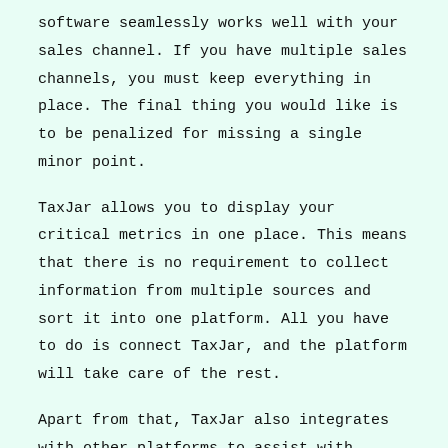software seamlessly works well with your sales channel. If you have multiple sales channels, you must keep everything in place. The final thing you would like is to be penalized for missing a single minor point.
TaxJar allows you to display your critical metrics in one place. This means that there is no requirement to collect information from multiple sources and sort it into one platform. All you have to do is connect TaxJar, and the platform will take care of the rest.
Apart from that, TaxJar also integrates with other platforms to assist with payment processing. Here's a list of platforms that they can connect with:
Xero
Amazon